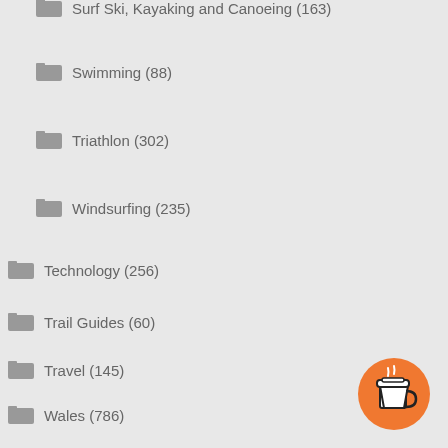Surf Ski, Kayaking and Canoeing (163)
Swimming (88)
Triathlon (302)
Windsurfing (235)
Technology (256)
Trail Guides (60)
Travel (145)
Wales (786)
Weather (368)
Website Design (31)
[Figure (illustration): Orange circular coffee cup button in bottom right corner]